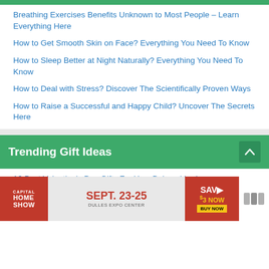Breathing Exercises Benefits Unknown to Most People – Learn Everything Here
How to Get Smooth Skin on Face? Everything You Need To Know
How to Sleep Better at Night Naturally? Everything You Need To Know
How to Deal with Stress? Discover The Scientifically Proven Ways
How to Raise a Successful and Happy Child? Uncover The Secrets Here
Trending Gift Ideas
16 Best Valentine's Day Gifts For Your Beloved Lady
10 Best Educational Games & Toys For Kids
10 B…
[Figure (screenshot): Advertisement banner for Capital Home Show, Sept. 23-25, Dulles Expo Center, Save $3 Now Buy Now]